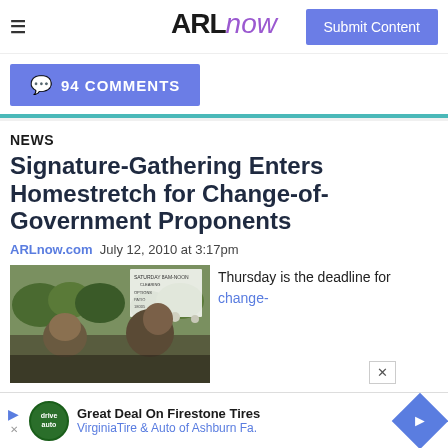ARLnow — Submit Content
💬 94 COMMENTS
NEWS
Signature-Gathering Enters Homestretch for Change-of-Government Proponents
ARLnow.com  July 12, 2010 at 3:17pm
[Figure (photo): Outdoor photo showing people gathered, with a sign visible in the background]
Thursday is the deadline for change-
Great Deal On Firestone Tires — VirginiaTire & Auto of Ashburn Fa.